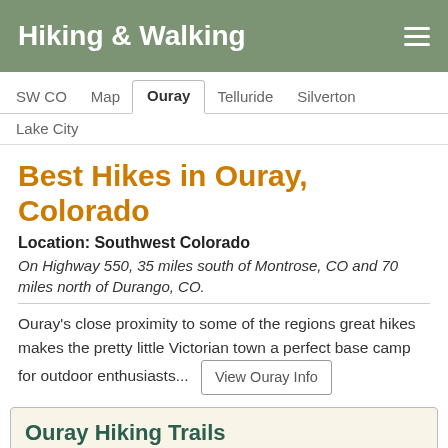Hiking & Walking
SW CO
Map
Ouray
Telluride
Silverton
Lake City
Best Hikes in Ouray, Colorado
Location: Southwest Colorado
On Highway 550, 35 miles south of Montrose, CO and 70 miles north of Durango, CO.
Ouray's close proximity to some of the regions great hikes makes the pretty little Victorian town a perfect base camp for outdoor enthusiasts...
Ouray Hiking Trails
Ice Lake